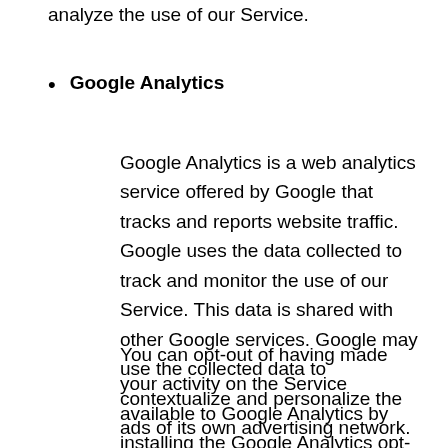analyze the use of our Service.
Google Analytics
Google Analytics is a web analytics service offered by Google that tracks and reports website traffic. Google uses the data collected to track and monitor the use of our Service. This data is shared with other Google services. Google may use the collected data to contextualize and personalize the ads of its own advertising network.
You can opt-out of having made your activity on the Service available to Google Analytics by installing the Google Analytics opt-out browser add-on. The add-on prevents the Google Analytics JavaScript (ga.js, analytics.js and dc.js) from sharing